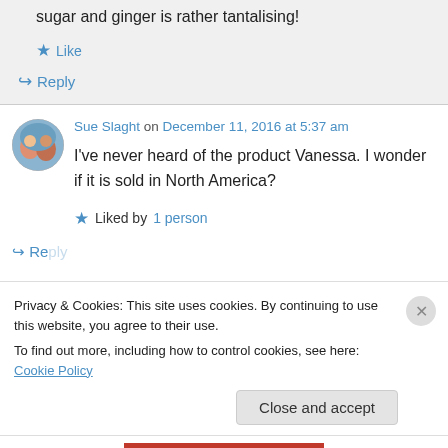sugar and ginger is rather tantalising!
★ Like
↪ Reply
Sue Slaght on December 11, 2016 at 5:37 am
I've never heard of the product Vanessa. I wonder if it is sold in North America?
★ Liked by 1 person
Privacy & Cookies: This site uses cookies. By continuing to use this website, you agree to their use.
To find out more, including how to control cookies, see here: Cookie Policy
Close and accept